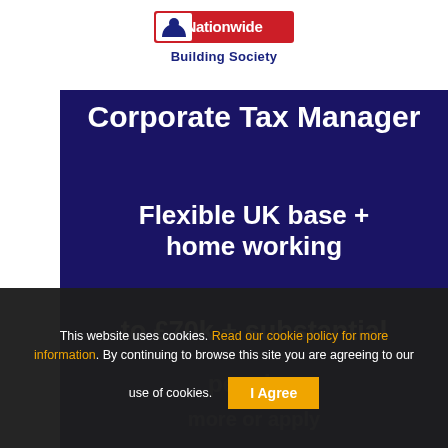[Figure (logo): Nationwide Building Society logo — stylized eagle/bird icon in blue and red with 'Nationwide' text and 'Building Society' subtitle in dark navy blue]
Corporate Tax Manager
Flexible UK base + home working
to £70k + substantial
pension
more or apply
This website uses cookies. Read our cookie policy for more information. By continuing to browse this site you are agreeing to our use of cookies. | I Agree